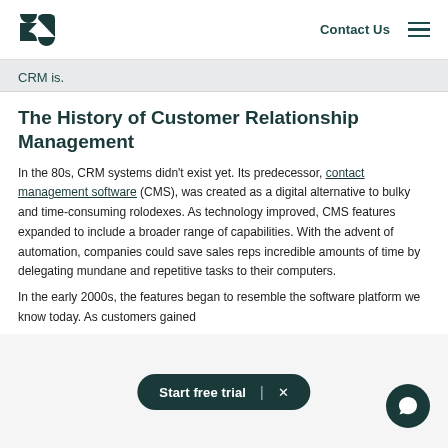Zendesk logo | Contact Us | Navigation menu
CRM is.
The History of Customer Relationship Management
In the 80s, CRM systems didn't exist yet. Its predecessor, contact management software (CMS), was created as a digital alternative to bulky and time-consuming rolodexes. As technology improved, CMS features expanded to include a broader range of capabilities. With the advent of automation, companies could save sales reps incredible amounts of time by delegating mundane and repetitive tasks to their computers.
In the early 2000s, the features began to resemble the software platform we know today. As customers gained
Start free trial | ×